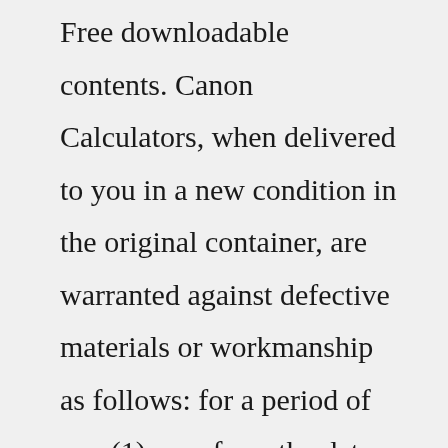Free downloadable contents. Canon Calculators, when delivered to you in a new condition in the original container, are warranted against defective materials or workmanship as follows: for a period of one (1) year from the date of purchase, defective parts or Calculators returned to a Canon U.S.A. or Canon Canada Factory Service Center and proved to be defective upon ... 4 interest-free payments. Shop now and pay later by choosing Tabby at checkout to split